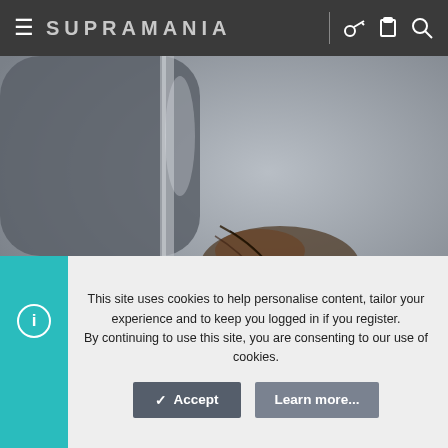SUPRAMANIA
[Figure (photo): Close-up photo of a car body panel area with visible rust damage and cracking at a metal seam or corner joint, with some fabric/carpet visible at lower left]
This site uses cookies to help personalise content, tailor your experience and to keep you logged in if you register. By continuing to use this site, you are consenting to our use of cookies.